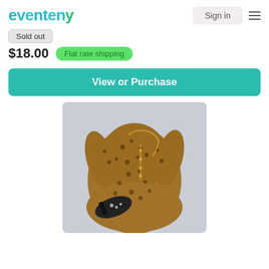eventeny — Sign in
Sold out
$18.00  Flat rate shipping
View or Purchase
[Figure (photo): Flat-lay photo of a brown leopard-print long-sleeve dress with a gold chain necklace and black heeled sandals with embellishments, laid out on a light blue/grey surface.]